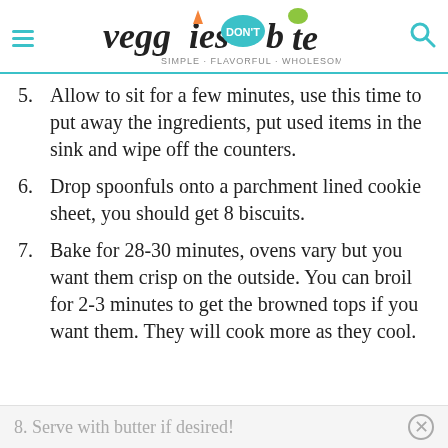veggies don't bite - SIMPLE · FLAVORFUL · WHOLESOME · PLANTS
5. Allow to sit for a few minutes, use this time to put away the ingredients, put used items in the sink and wipe off the counters.
6. Drop spoonfuls onto a parchment lined cookie sheet, you should get 8 biscuits.
7. Bake for 28-30 minutes, ovens vary but you want them crisp on the outside. You can broil for 2-3 minutes to get the browned tops if you want them. They will cook more as they cool.
8. Serve with butter if desired!